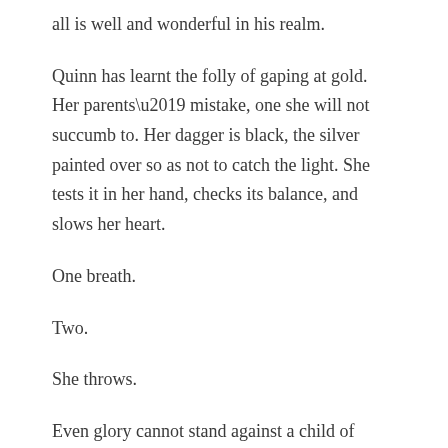all is well and wonderful in his realm.
Quinn has learnt the folly of gaping at gold. Her parents’ mistake, one she will not succumb to. Her dagger is black, the silver painted over so as not to catch the light. She tests it in her hand, checks its balance, and slows her heart.
One breath.
Two.
She throws.
Even glory cannot stand against a child of revenge.